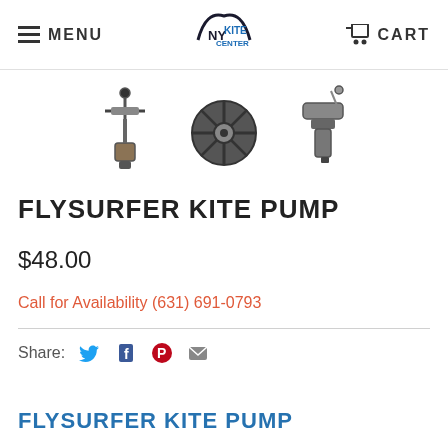MENU | NY KITE CENTER | CART
[Figure (photo): Three product images of the Flysurfer Kite Pump: a standalone pump on the left, a top-down view of the pump head in the center, and a close-up of the pump connector on the right]
FLYSURFER KITE PUMP
$48.00
Call for Availability (631) 691-0793
Share:
FLYSURFER KITE PUMP